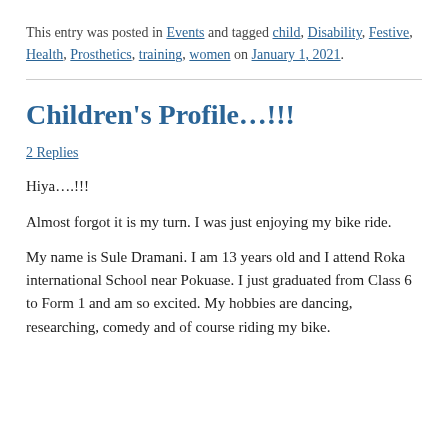This entry was posted in Events and tagged child, Disability, Festive, Health, Prosthetics, training, women on January 1, 2021.
Children's Profile…!!!
2 Replies
Hiya….!!!
Almost forgot it is my turn. I was just enjoying my bike ride.
My name is Sule Dramani. I am 13 years old and I attend Roka international School near Pokuase. I just graduated from Class 6 to Form 1 and am so excited. My hobbies are dancing, researching, comedy and of course riding my bike.